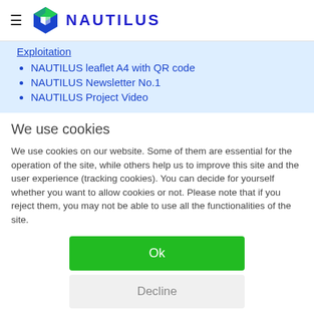NAUTILUS
Exploitation
NAUTILUS leaflet A4 with QR code
NAUTILUS Newsletter No.1
NAUTILUS Project Video
We use cookies
We use cookies on our website. Some of them are essential for the operation of the site, while others help us to improve this site and the user experience (tracking cookies). You can decide for yourself whether you want to allow cookies or not. Please note that if you reject them, you may not be able to use all the functionalities of the site.
Ok
Decline
More information